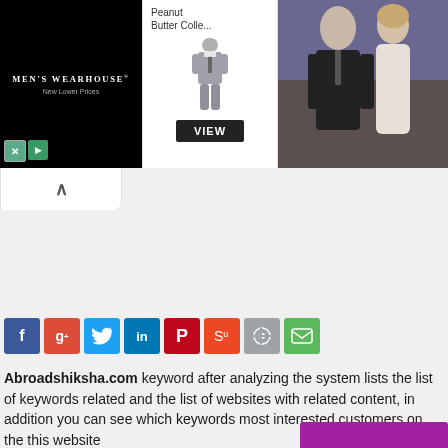[Figure (screenshot): Men's Wearhouse advertisement banner with black left panel showing logo and 'New Lower Prices', center panel with child in gray suit and 'Peanut Butter Colle...' text and VIEW button, right panel with couple in formal wear]
[Figure (screenshot): Collapse/minimize tab with upward arrow chevron on white background]
[Figure (screenshot): Social sharing buttons row: Facebook (f), Google+ (g+), Twitter bird, LinkedIn (in), Pinterest (P), StumbleUpon, Reddit, Email envelope]
Abroadshiksha.com keyword after analyzing the system lists the list of keywords related and the list of websites with related content, in addition you can see which keywords most interested customers on the this website